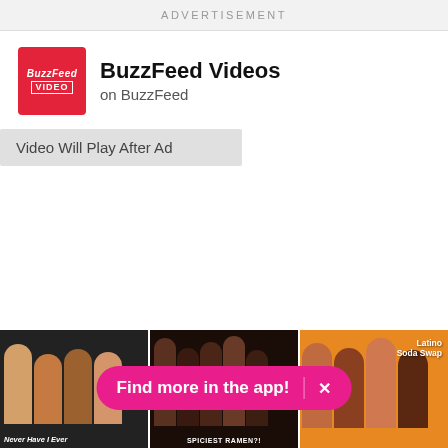ADVERTISEMENT
BuzzFeed Videos
on BuzzFeed
Video Will Play After Ad
[Figure (screenshot): Three video thumbnails at the bottom: Never Have I Ever, Spiciest Ramen?!, and Latino Soda Swap. A pink pill-shaped banner overlays saying 'Find more in the app!' with an X close button.]